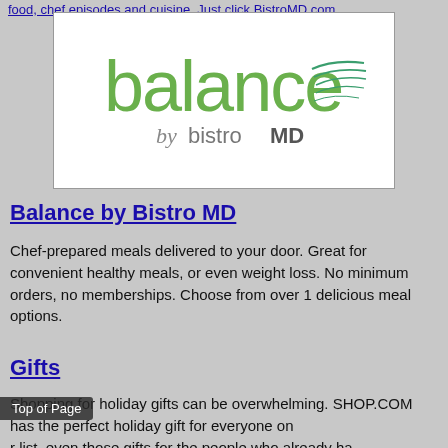food, chef episodes and cuisine. Just click BistroMD.com
[Figure (logo): Balance by bistroMD logo — green stylized text 'balance' with decorative swoosh, subtitle 'by bistroMD' in grey and dark text]
Balance by Bistro MD
Chef-prepared meals delivered to your door. Great for convenient healthy meals, or even weight loss. No minimum orders, no memberships. Choose from over 1 delicious meal options.
Gifts
Shopping for holiday gifts can be overwhelming. SHOP.COM has the perfect holiday gift for everyone on your list, even those gifts for the people who already have everything. We make it easy to find all of the things you
Top of Page